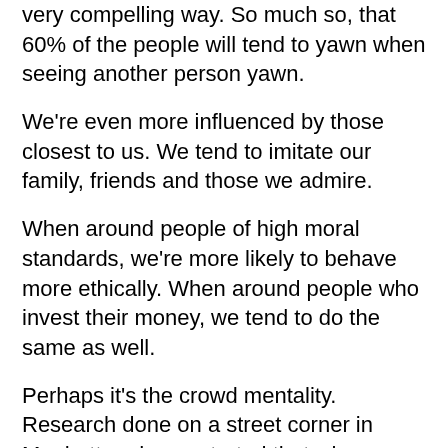very compelling way. So much so, that 60% of the people will tend to yawn when seeing another person yawn.
We're even more influenced by those closest to us. We tend to imitate our family, friends and those we admire.
When around people of high moral standards, we're more likely to behave more ethically. When around people who invest their money, we tend to do the same as well.
Perhaps it's the crowd mentality. Research done on a street corner in Manhattan demonstrated that when one person stood and pointed up to the sky, he was berated by passersby, according to Robert Cialdini, author of Harnessing the Science of Persuasion. Car drivers honked and shouted, 'Get out of the way, you idiot!' When three people stood and pointed, they achieved a certain validity, whereby no one would yell at them. In fact, five more would stand there with them and start looking. After reaching a critical mass of five to ten people, the group